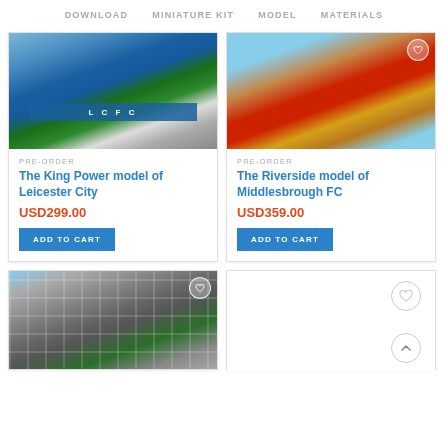DOWNLOAD   MINIATURE KIT   MODEL   MATERIALS
[Figure (photo): Aerial photo of King Power Stadium, Leicester City FC, showing blue and white stands with LCFC signage and green pitch]
PRE-ORDER
The King Power model of Leicester City
USD299.00
ADD TO CART
[Figure (photo): Aerial photo of Riverside Stadium, Middlesbrough FC, showing oval stadium near a river with red and yellow exterior]
PRE-ORDER
The Riverside model of Middlesbrough FC
USD359.00
ADD TO CART
[Figure (photo): Aerial photo of a stadium with white/grey lattice roof structure and green pitch visible]
[Figure (other): Empty product card placeholder with wishlist heart icon and scroll-up arrow icon]